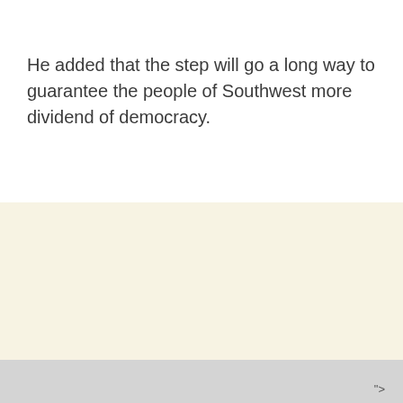He added that the step will go a long way to guarantee the people of Southwest more dividend of democracy.
">